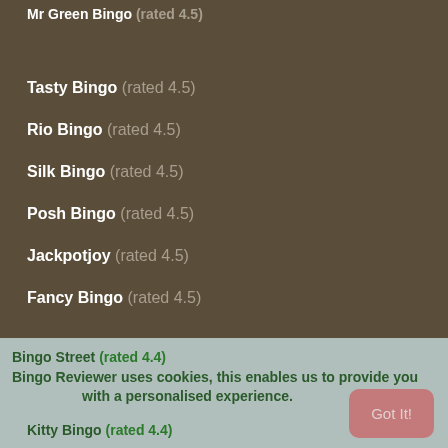Mr Green Bingo (rated 4.5)
Tasty Bingo (rated 4.5)
Rio Bingo (rated 4.5)
Silk Bingo (rated 4.5)
Posh Bingo (rated 4.5)
Jackpotjoy (rated 4.5)
Fancy Bingo (rated 4.5)
Sing Bingo (rated 4.5)
Jet Bingo (rated 4.5)
Spectra Bingo (rated 4.5)
Zeus Bingo (rated 4.4)
Bingo Street (rated 4.4)
Kitty Bingo (rated 4.4)
Bingo Reviewer uses cookies, this enables us to provide you with a personalised experience. Got It!